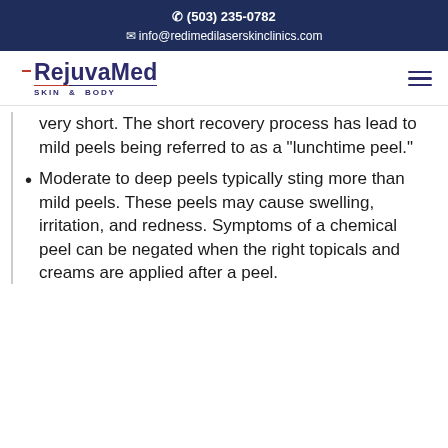(503) 235-0782
info@redimedilaserskinclinics.com
[Figure (logo): RejuvaMed Skin & Body logo with red and blue branding elements]
very short. The short recovery process has lead to mild peels being referred to as a “lunchtime peel.”
Moderate to deep peels typically sting more than mild peels. These peels may cause swelling, irritation, and redness. Symptoms of a chemical peel can be negated when the right topicals and creams are applied after a peel.